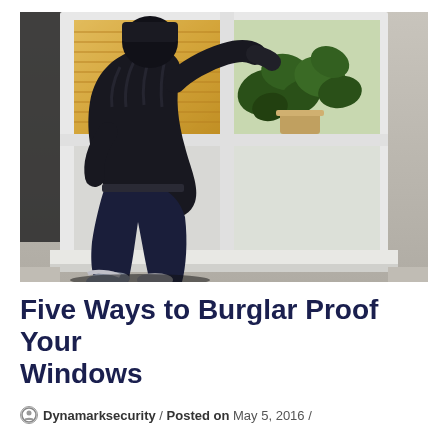[Figure (photo): A burglar dressed in dark clothing climbing through a white-framed window at night, with a plant visible inside the room.]
Five Ways to Burglar Proof Your Windows
Dynamarksecurity / Posted on May 5, 2016 /